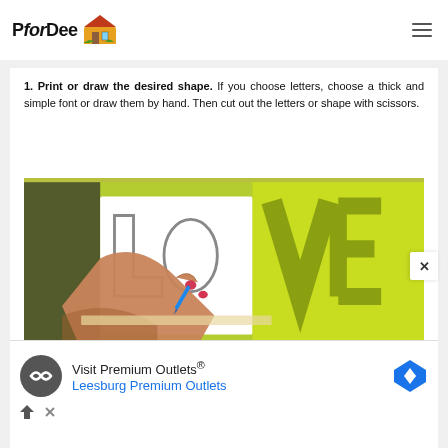PforDee
1. Print or draw the desired shape. If you choose letters, choose a thick and simple font or draw them by hand. Then cut out the letters or shape with scissors.
[Figure (photo): A person tracing or cutting out large letters spelling LOVE on white paper placed on a bright lime-green cutting mat, using a blue marker or pen. The letters are outlined in the style of a thick simple font.]
[Figure (infographic): Advertisement banner: Visit Premium Outlets® / Leesburg Premium Outlets with a circular icon and a blue diamond navigation icon.]